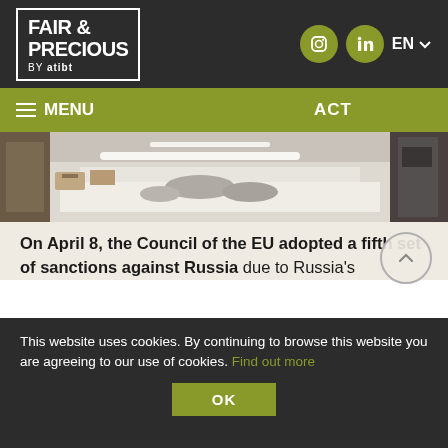FAIR & PRECIOUS BY ATIBT
[Figure (logo): Fair & Precious by atibt logo in white on dark background]
[Figure (photo): Snowy outdoor scene with timber/lumber materials]
On April 8, the Council of the EU adopted a fifth set of sanctions against Russia due to Russia's
This website uses cookies. By continuing to browse this website you are agreeing to our use of cookies. Find out more